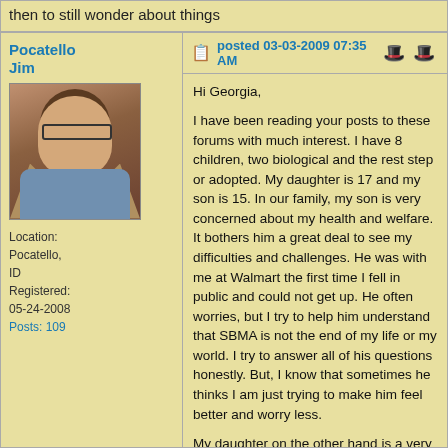then to still wonder about things
posted 03-03-2009 07:35 AM
Pocatello Jim
[Figure (photo): Avatar photo of Pocatello Jim, a man in a tan jacket and blue shirt]
Location: Pocatello, ID
Registered: 05-24-2008
Posts: 109
Hi Georgia,

I have been reading your posts to these forums with much interest. I have 8 children, two biological and the rest step or adopted. My daughter is 17 and my son is 15. In our family, my son is very concerned about my health and welfare. It bothers him a great deal to see my difficulties and challenges. He was with me at Walmart the first time I fell in public and could not get up. He often worries, but I try to help him understand that SBMA is not the end of my life or my world. I try to answer all of his questions honestly. But, I know that sometimes he thinks I am just trying to make him feel better and worry less.

My daughter on the other hand is a very private person and does not like to talk about her worries or feelings. Her approach to life is "this is the situation, talking won't change it so just deal." This is very hard for me. I want to talk to her. I want to know what is going on inside her head and heart. I want to advise